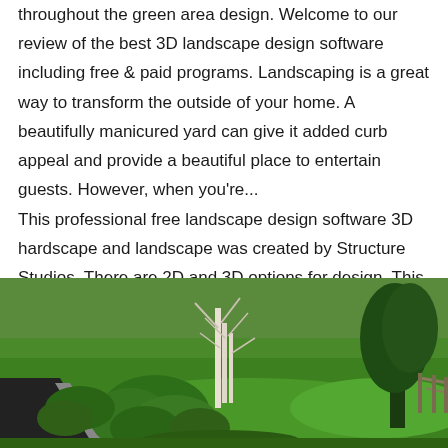throughout the green area design. Welcome to our review of the best 3D landscape design software including free & paid programs. Landscaping is a great way to transform the outside of your home. A beautifully manicured yard can give it added curb appeal and provide a beautiful place to entertain guests. However, when you're... This professional free landscape design software 3D hardscape and landscape was created by Structure Studios. There are 2D and 3D options for design. This software allows you to convert all your flat lines and shapes into fully interactive presentation.
[Figure (photo): A 3D landscape design rendering showing a green lawn with trees, shrubs, a driveway or path, and various plants in a realistic outdoor setting.]